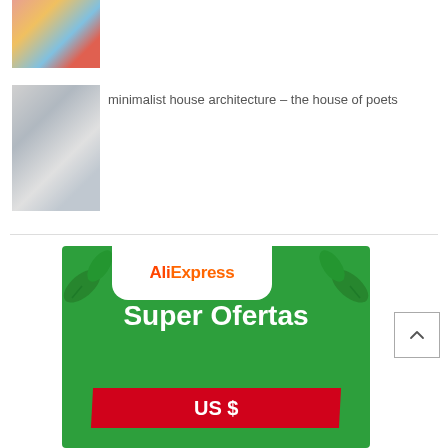[Figure (photo): Colorful room/play area photo thumbnail]
[Figure (photo): Black and white minimalist architecture interior photo thumbnail]
minimalist house architecture – the house of poets
[Figure (illustration): AliExpress advertisement banner with green background, AliExpress logo, leaf decorations, and text 'Super Ofertas US $...']